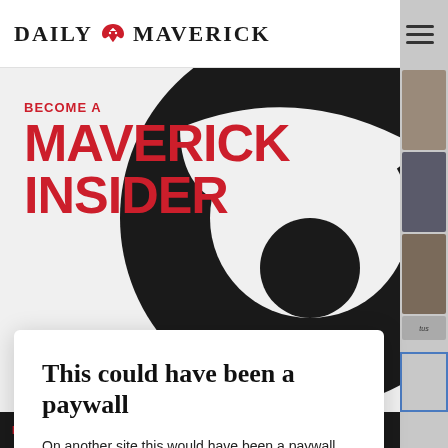DAILY MAVERICK
[Figure (logo): Daily Maverick newspaper logo with stylized bird/eagle icon between DAILY and MAVERICK text]
[Figure (illustration): Large black swirl/yin-yang decorative graphic on white background, partially behind the Maverick Insider badge]
BECOME A MAVERICK INSIDER
This could have been a paywall
On another site this would have been a paywall. Maverick Insider keeps our content free for all.
Become an Insider
MY LAND OBSESSION POLICY IN SOUTH AFRICA